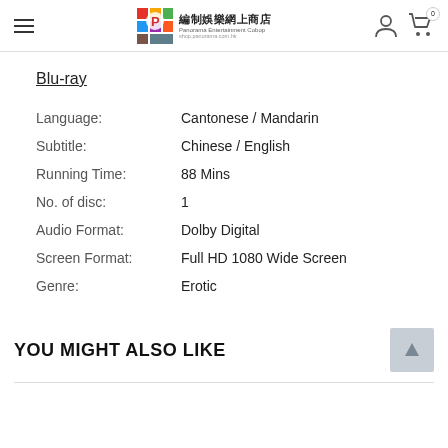Panorama Entertainment Cobop shop.panorama.com.hk
Blu-ray
| Field | Value |
| --- | --- |
| Language: | Cantonese / Mandarin |
| Subtitle: | Chinese / English |
| Running Time: | 88 Mins |
| No. of disc: | 1 |
| Audio Format: | Dolby Digital |
| Screen Format: | Full HD 1080 Wide Screen |
| Genre: | Erotic |
YOU MIGHT ALSO LIKE